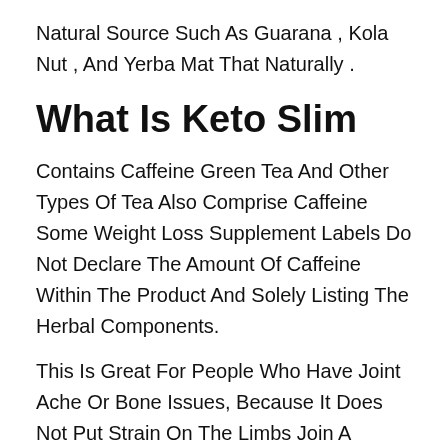Natural Source Such As Guarana , Kola Nut , And Yerba Mat That Naturally .
What Is Keto Slim
Contains Caffeine Green Tea And Other Types Of Tea Also Comprise Caffeine Some Weight Loss Supplement Labels Do Not Declare The Amount Of Caffeine Within The Product And Solely Listing The Herbal Components.
This Is Great For People Who Have Joint Ache Or Bone Issues, Because It Does Not Put Strain On The Limbs Join A Sports Group, Take A Dance Lesson, Or Be Part Of A Mountaineering Group If You Have Ever Dreamed About Including A Physical Hobby To Your Life, Now Is The Time To Do It One Supply Of Fatigue From Altering One S Food Regimen Is Trying To Chop Out Too Many Favourite